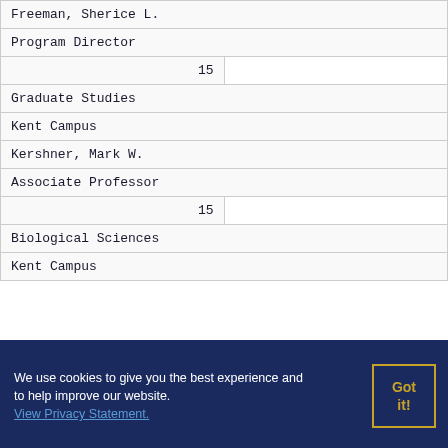| Freeman, Sherice L. |
| Program Director |
| 15 |  |
| Graduate Studies |
| Kent Campus |
| Kershner, Mark W. |
| Associate Professor |
| 15 |  |
| Biological Sciences |
| Kent Campus |
We use cookies to give you the best experience and to help improve our website. View Privacy Statement.